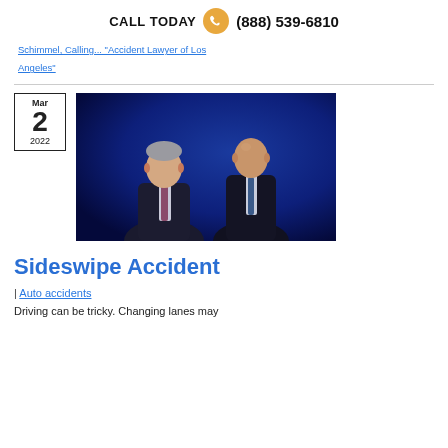CALL TODAY  (888) 539-6810
Schimmel, Calling... "Accident Lawyer of Los Angeles"
[Figure (photo): Two male attorneys in dark suits posing in front of a dark blue background]
Sideswipe Accident
| Auto accidents
Driving can be tricky. Changing lanes may